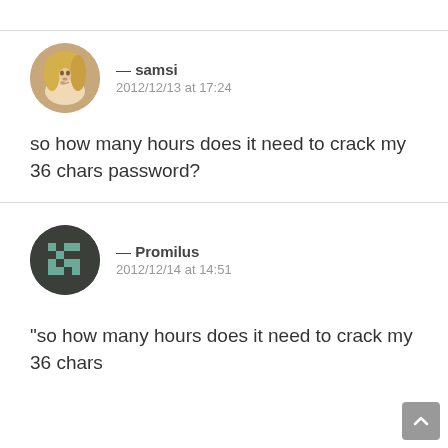[Figure (illustration): Circular avatar photo of a blonde woman (samsi)]
— samsi
2012/12/13 at 17:24
so how many hours does it need to crack my 36 chars password?
[Figure (illustration): Circular dark avatar with pixel/QR-code style graphic for Promilus]
— Promilus
2012/12/14 at 14:51
“so how many hours does it need to crack my 36 chars